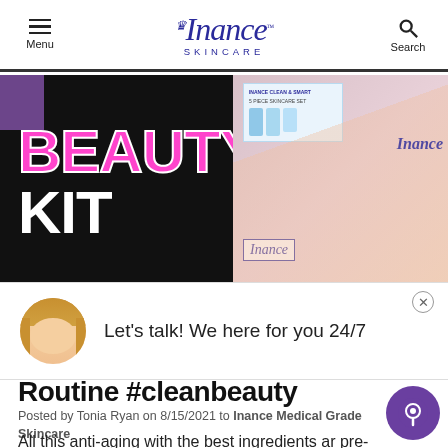Menu | Inance Skincare | Search
[Figure (photo): Inance Skincare Beauty Kit promotional image with pink 'BEAUTY KIT' text on dark background, and a woman wearing an Inance branded shirt on the right side with product display]
[Figure (photo): Live chat popup with blonde woman avatar and text 'Let's talk! We here for you 24/7']
Routine #cleanbeauty
Posted by Tonia Ryan on 8/15/2021 to Inance Medical Grade Skincare
All this anti-aging with the best ingredients are pre-made and it's ready to go. And I'm making it